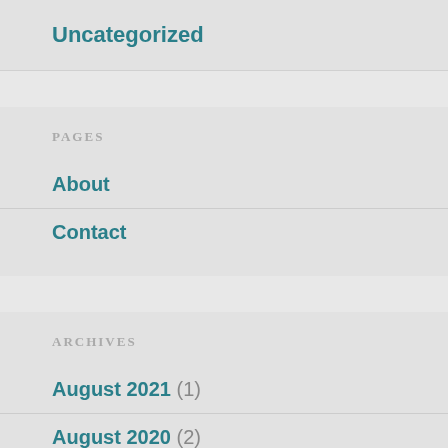Uncategorized
PAGES
About
Contact
ARCHIVES
August 2021 (1)
August 2020 (2)